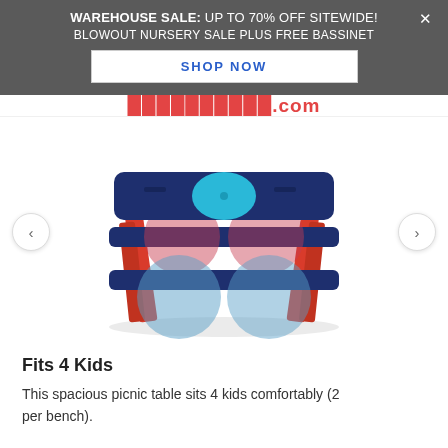WAREHOUSE SALE: UP TO 70% OFF SITEWIDE! BLOWOUT NURSERY SALE PLUS FREE BASSINET
SHOP NOW
[Figure (screenshot): Partially visible website logo/header text in red]
[Figure (photo): A children's plastic picnic table with navy blue tabletop and bench seats, red legs, and a cyan circle in the center of the table. Overlaid with semi-transparent colored circles (red/pink and light blue) suggesting seating positions for 4 kids.]
Fits 4 Kids
This spacious picnic table sits 4 kids comfortably (2 per bench).